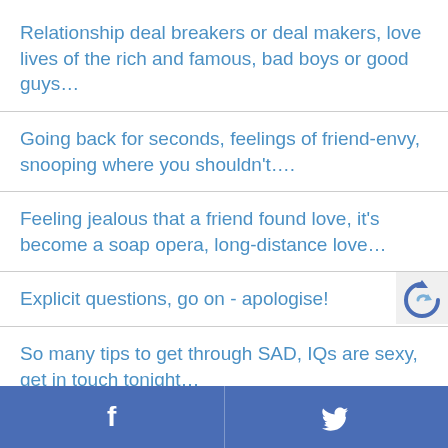Relationship deal breakers or deal makers, love lives of the rich and famous, bad boys or good guys…
Going back for seconds, feelings of friend-envy, snooping where you shouldn't….
Feeling jealous that a friend found love, it's become a soap opera, long-distance love…
Explicit questions, go on - apologise!
So many tips to get through SAD, IQs are sexy, get in touch tonight…
Blind dates, your sleep positions and your…
f   🐦